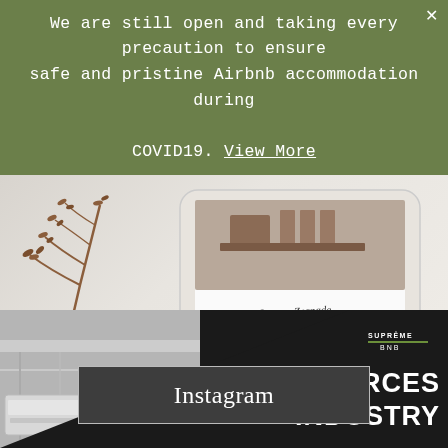We are still open and taking every precaution to ensure safe and pristine Airbnb accommodation during COVID19. View More
[Figure (photo): Photo of a tablet device showing a design/portfolio page with 'Lauren Zosnade' and 'PROJECT' text, alongside a dried plant branch on a light marble surface]
Instagram
[Figure (photo): Interior room photo showing white architectural elements and an air conditioning unit, with a large black diagonal triangle overlay]
SUPRÊME BNB RESOURCES INDUSTRY